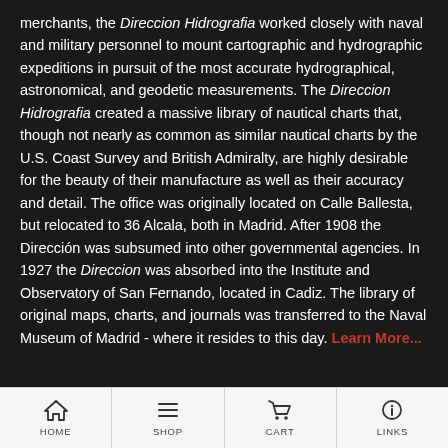merchants, the Direccion Hidrografia worked closely with naval and military personnel to mount cartographic and hydrographic expeditions in pursuit of the most accurate hydrographical, astronomical, and geodetic measurements. The Direccion Hidrografia created a massive library of nautical charts that, though not nearly as common as similar nautical charts by the U.S. Coast Survey and British Admiralty, are highly desirable for the beauty of their manufacture as well as their accuracy and detail. The office was originally located on Calle Ballesta, but relocated to 36 Alcala, both in Madrid. After 1908 the Dirección was subsumed into other governmental agencies. In 1927 the Direccion was absorbed into the Institute and Observatory of San Fernando, located in Cadiz. The library of original maps, charts, and journals was transferred to the Naval Museum of Madrid - where it resides to this day. Learn More...
HOME | SHOP | CART | LINKS